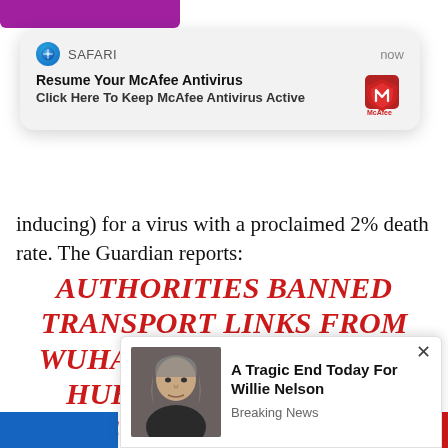[Figure (screenshot): Purple top bar partial view of a webpage header]
[Figure (screenshot): Safari browser notification popup: 'Resume Your McAfee Antivirus - Click Here To Keep McAfee Antivirus Active' with McAfee logo, time 'now']
inducing) for a virus with a proclaimed 2% death rate. The Guardian reports:
AUTHORITIES BANNED TRANSPORT LINKS FROM WUHAN, THE CAPITAL OF HUBEI PROVINCE, ON THURSDAY, AS WELL AS THE NEARBY CENTRAL CHINESE CITIES OF HUANGGANG A... S, SU... NG
[Figure (screenshot): Ad popup overlay: photo of Willie Nelson with text 'A Tragic End Today For Willie Nelson' and subtext 'Breaking News', with X close button]
[Figure (screenshot): Blue navigation button at bottom left]
[Figure (screenshot): Red navigation button at bottom right]